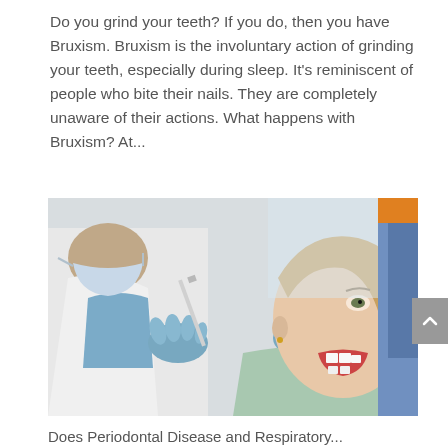Do you grind your teeth? If you do, then you have Bruxism. Bruxism is the involuntary action of grinding your teeth, especially during sleep. It's reminiscent of people who bite their nails. They are completely unaware of their actions. What happens with Bruxism? At...
[Figure (photo): A dentist wearing blue gloves and a white coat examines a female patient's open mouth using dental instruments. The patient is reclined in a dental chair with a green bib.]
Does Periodontal Disease and Respiratory...